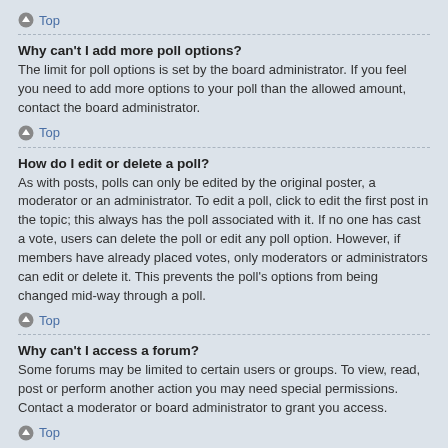Top
Why can't I add more poll options?
The limit for poll options is set by the board administrator. If you feel you need to add more options to your poll than the allowed amount, contact the board administrator.
Top
How do I edit or delete a poll?
As with posts, polls can only be edited by the original poster, a moderator or an administrator. To edit a poll, click to edit the first post in the topic; this always has the poll associated with it. If no one has cast a vote, users can delete the poll or edit any poll option. However, if members have already placed votes, only moderators or administrators can edit or delete it. This prevents the poll's options from being changed mid-way through a poll.
Top
Why can't I access a forum?
Some forums may be limited to certain users or groups. To view, read, post or perform another action you may need special permissions. Contact a moderator or board administrator to grant you access.
Top